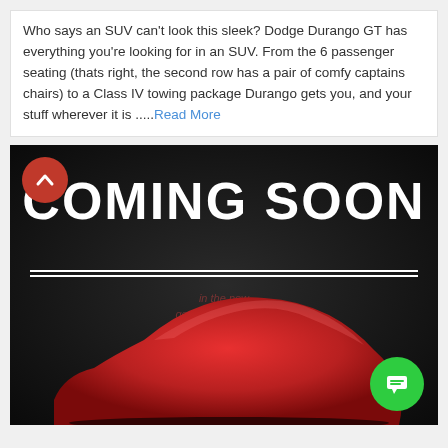Who says an SUV can't look this sleek? Dodge Durango GT has everything you're looking for in an SUV. From the 6 passenger seating (thats right, the second row has a pair of comfy captains chairs) to a Class IV towing package Durango gets you, and your stuff wherever it is .....Read More
[Figure (photo): Dark promotional image with 'COMING SOON' text in large white bold letters, and a red car covered with a red cloth/drape silhouette in the foreground on a black background. Two horizontal white lines appear below the text. A red circular up-arrow button is in the top-left corner, and a green circular chat button in the bottom-right corner.]